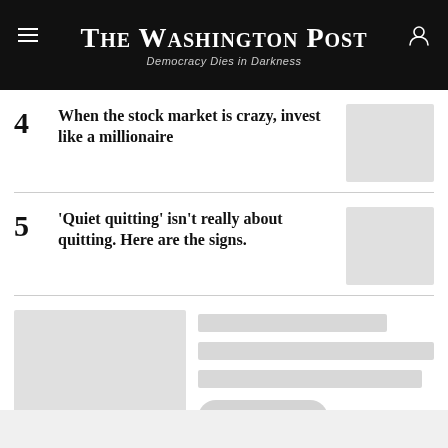The Washington Post — Democracy Dies in Darkness
4  When the stock market is crazy, invest like a millionaire
5  'Quiet quitting' isn't really about quitting. Here are the signs.
[Figure (other): Promotional card with placeholder image on left and skeleton text lines and pill button on right]